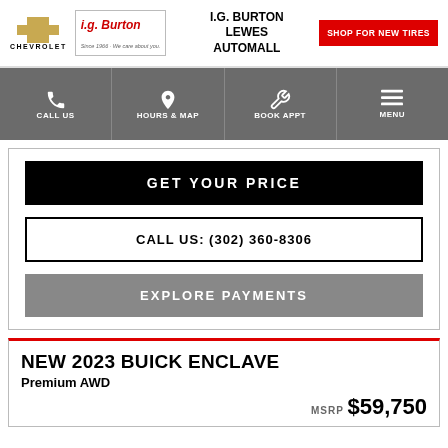[Figure (logo): Chevrolet bowtie logo with CHEVROLET text below]
[Figure (logo): i.g. Burton dealership logo in red italic text with tagline]
I.G. BURTON LEWES AUTOMALL
SHOP FOR NEW TIRES
CALL US
HOURS & MAP
BOOK APPT
MENU
GET YOUR PRICE
CALL US: (302) 360-8306
EXPLORE PAYMENTS
NEW 2023 BUICK ENCLAVE
Premium AWD
MSRP $59,750